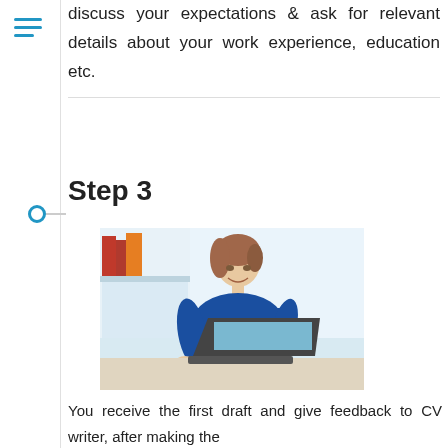discuss your expectations & ask for relevant details about your work experience, education etc.
Step 3
[Figure (photo): Woman in blue blouse sitting at a desk working on a laptop, with shelves and binders visible in the background]
You receive the first draft and give feedback to CV writer, after making the